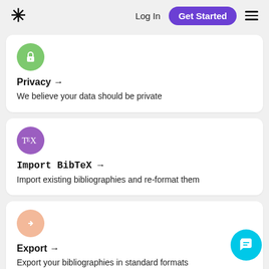Log In  Get Started
Privacy →
We believe your data should be private
Import BibTeX →
Import existing bibliographies and re-format them
Export →
Export your bibliographies in standard formats